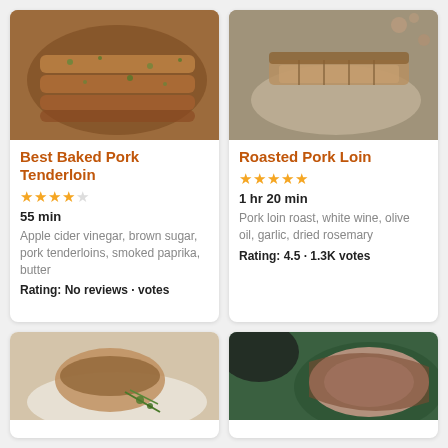[Figure (photo): Sliced baked pork tenderloin in a pan with herbs]
Best Baked Pork Tenderloin
★★★★☆
55 min
Apple cider vinegar, brown sugar, pork tenderloins, smoked paprika, butter
Rating: No reviews · votes
[Figure (photo): Sliced roasted pork loin on a plate]
Roasted Pork Loin
★★★★★
1 hr 20 min
Pork loin roast, white wine, olive oil, garlic, dried rosemary
Rating: 4.5 · 1.3K votes
[Figure (photo): Roasted pork with rosemary on a white plate]
[Figure (photo): Sliced pork loin with pink interior]